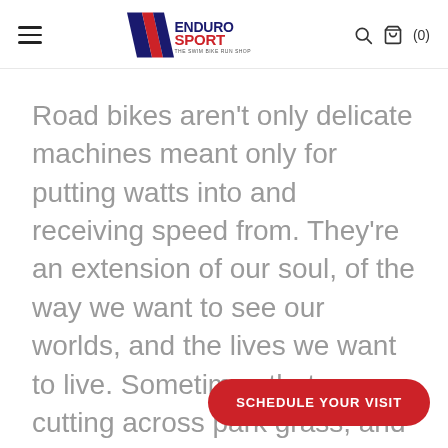Enduro Sport — The Swim Bike Run Shop
Road bikes aren't only delicate machines meant only for putting watts into and receiving speed from. They're an extension of our soul, of the way we want to see our worlds, and the lives we want to live. Sometimes that means cutting across park grass, and sometimes it's seeing where that dirt road off to the left leads you. The Caledonia-5... modern road rider.